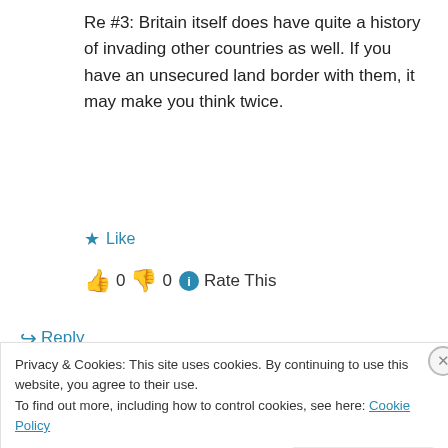Re #3: Britain itself does have quite a history of invading other countries as well. If you have an unsecured land border with them, it may make you think twice.
★ Like
👍 0 👎 0 ℹ Rate This
↪ Reply
Privacy & Cookies: This site uses cookies. By continuing to use this website, you agree to their use.
To find out more, including how to control cookies, see here: Cookie Policy
Close and accept